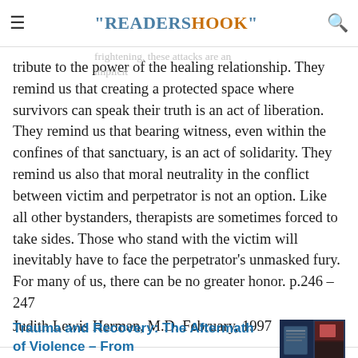"READERSHOOK"
Some attacks have been downright silly; many have been quite ugly. Though frightening, these attacks are an implicit tribute to the power of the healing relationship. They remind us that creating a protected space where survivors can speak their truth is an act of liberation. They remind us that bearing witness, even within the confines of that sanctuary, is an act of solidarity. They remind us also that moral neutrality in the conflict between victim and perpetrator is not an option. Like all other bystanders, therapists are sometimes forced to take sides. Those who stand with the victim will inevitably have to face the perpetrator's unmasked fury. For many of us, there can be no greater honor. p.246 – 247
Judith Lewis Herman, M.D. February, 1997
Trauma and Recovery: The Aftermath of Violence – From